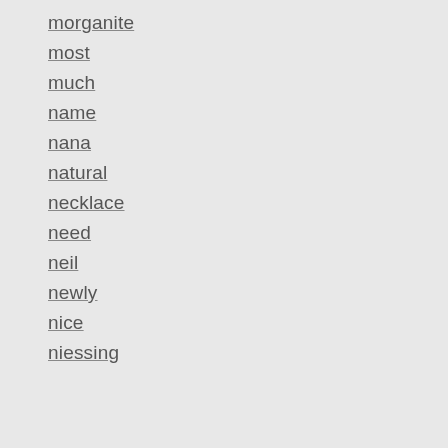morganite
most
much
name
nana
natural
necklace
need
neil
newly
nice
niessing